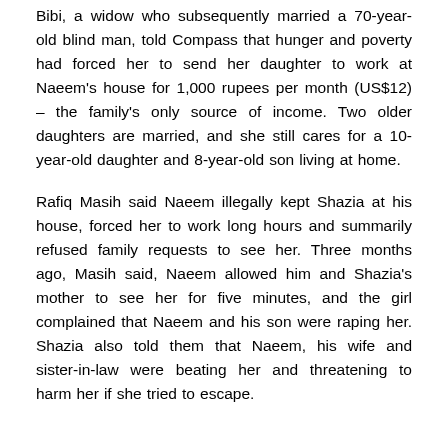Bibi, a widow who subsequently married a 70-year-old blind man, told Compass that hunger and poverty had forced her to send her daughter to work at Naeem's house for 1,000 rupees per month (US$12) – the family's only source of income. Two older daughters are married, and she still cares for a 10-year-old daughter and 8-year-old son living at home.
Rafiq Masih said Naeem illegally kept Shazia at his house, forced her to work long hours and summarily refused family requests to see her. Three months ago, Masih said, Naeem allowed him and Shazia's mother to see her for five minutes, and the girl complained that Naeem and his son were raping her. Shazia also told them that Naeem, his wife and sister-in-law were beating her and threatening to harm her if she tried to escape.